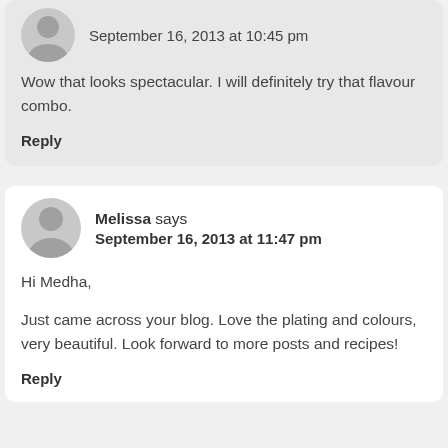Wow that looks spectacular. I will definitely try that flavour combo.
Reply
Melissa says September 16, 2013 at 11:47 pm
Hi Medha,
Just came across your blog. Love the plating and colours, very beautiful. Look forward to more posts and recipes!
Reply